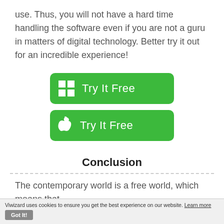use. Thus, you will not have a hard time handling the software even if you are not a guru in matters of digital technology. Better try it out for an incredible experience!
[Figure (infographic): Two green 'Try It Free' buttons: one with a Windows logo, one with an Apple logo]
Conclusion
The contemporary world is a free world, which means that
Viwizard uses cookies to ensure you get the best experience on our website. Learn more Got It!